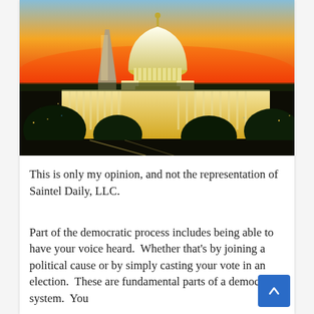[Figure (photo): Aerial night view of the US Capitol Building and Washington Monument at sunset/dusk with orange and red sky, city lights visible]
This is only my opinion, and not the representation of Saintel Daily, LLC.
Part of the democratic process includes being able to have your voice heard.  Whether that's by joining a political cause or by simply casting your vote in an election.  These are fundamental parts of a democratic system.  You